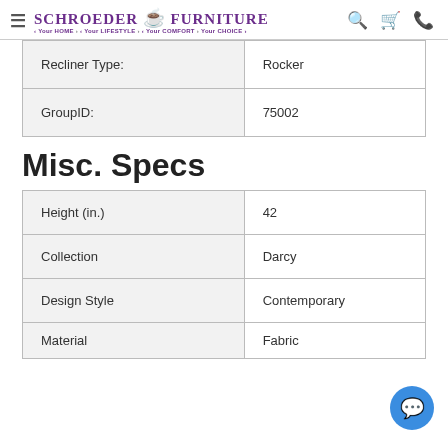Schroeder Furniture - Your HOME · Your LIFESTYLE · Your COMFORT · Your CHOICE
| Recliner Type: | Rocker |
| GroupID: | 75002 |
Misc. Specs
| Height (in.) | 42 |
| Collection | Darcy |
| Design Style | Contemporary |
| Material | Fabric |